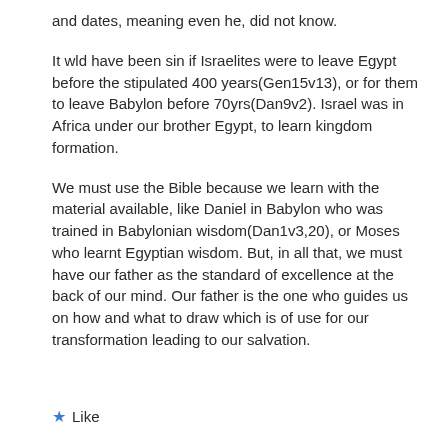and dates, meaning even he, did not know.
It wld have been sin if Israelites were to leave Egypt before the stipulated 400 years(Gen15v13), or for them to leave Babylon before 70yrs(Dan9v2). Israel was in Africa under our brother Egypt, to learn kingdom formation.
We must use the Bible because we learn with the material available, like Daniel in Babylon who was trained in Babylonian wisdom(Dan1v3,20), or Moses who learnt Egyptian wisdom. But, in all that, we must have our father as the standard of excellence at the back of our mind. Our father is the one who guides us on how and what to draw which is of use for our transformation leading to our salvation.
Like